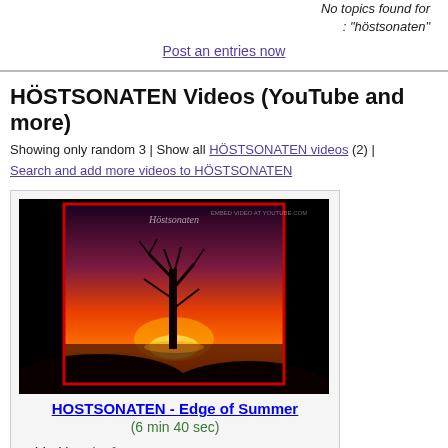No topics found for
: "höstsonaten"
Post an entries now
HÖSTSONATEN Videos (YouTube and more)
Showing only random 3 | Show all HÖSTSONATEN videos (2) | Search and add more videos to HÖSTSONATEN
[Figure (photo): Video thumbnail for HOSTSONATEN - Edge of Summer showing a dark silhouette of a tree against a vivid orange and red sunset sky]
HOSTSONATEN - Edge of Summer
(6 min 40 sec)
Added by Finnforest
[Figure (photo): Partial thumbnail of second HÖSTSONATEN video, green tones visible]